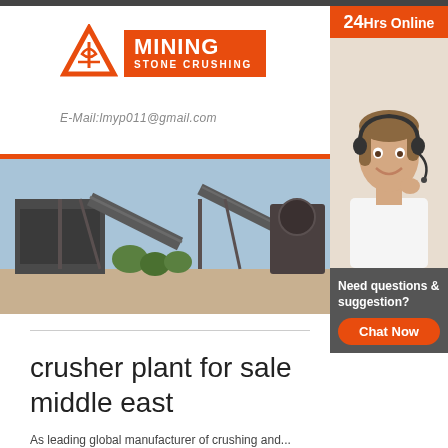[Figure (logo): Mining Stone Crushing company logo with orange triangle and orange text box]
E-Mail:lmyp011@gmail.com
[Figure (photo): Outdoor mining/stone crushing plant with conveyor belts and machinery against a blue sky]
[Figure (photo): Customer support woman wearing headset, smiling, with 24Hrs Online banner and Need questions & suggestion panel]
crusher plant for sale middle east
As leading global manufacturer of crushing and...